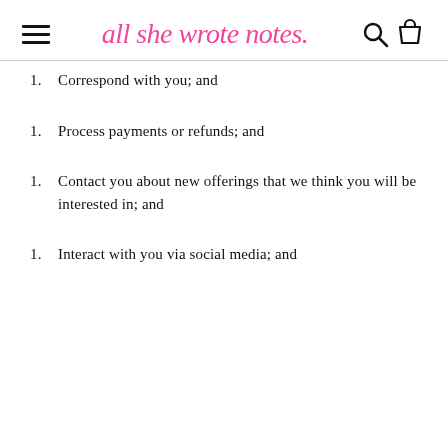all she wrote notes
Correspond with you; and
Process payments or refunds; and
Contact you about new offerings that we think you will be interested in; and
Interact with you via social media; and